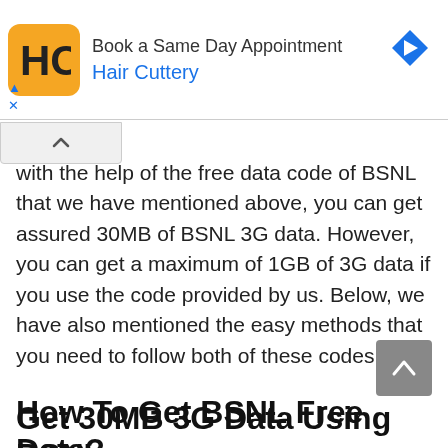[Figure (screenshot): Advertisement banner for Hair Cuttery with logo, text 'Book a Same Day Appointment', 'Hair Cuttery', navigation arrow icon, and ad controls (triangle and X)]
with the help of the free data code of BSNL that we have mentioned above, you can get assured 30MB of BSNL 3G data. However, you can get a maximum of 1GB of 3G data if you use the code provided by us. Below, we have also mentioned the easy methods that you need to follow both of these codes.
How To Get BSNL Free Data?
There are different methods that you need to follow to get free data with BSNL. These methods are as follows:
Get 30MB 3G Data Using BSNL